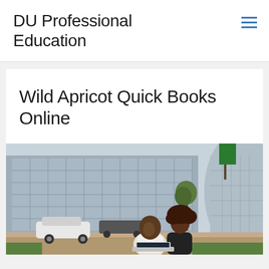DU Professional Education
Wild Apricot Quick Books Online
[Figure (photo): Two people, a man and a woman, sitting outdoors in front of a modern glass office building, looking at a laptop together. Urban street scene with cars and trees visible in the background.]